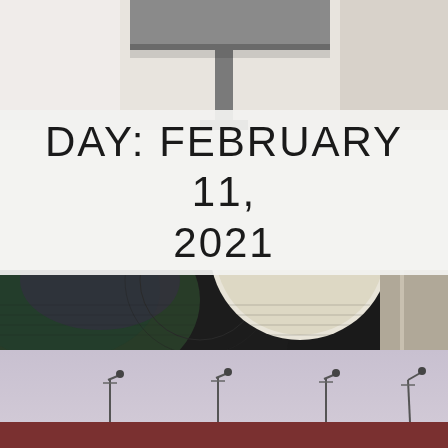[Figure (photo): Top portion of a photo showing a lamp or metal object against a light/white background, partially cropped]
DAY: FEBRUARY 11, 2021
[Figure (photo): Close-up of a vinyl record on a turntable, showing the record label reading 'Detroit' with colorful iridescent grooves visible]
[Figure (photo): Exterior photo showing street lamps mounted on top of a dark red/maroon building wall against a pale lavender-grey sky]